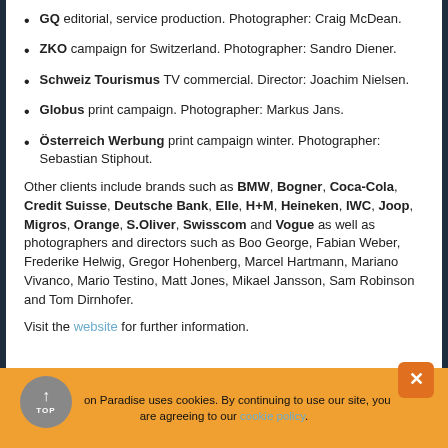GQ editorial, service production. Photographer: Craig McDean.
ZKO campaign for Switzerland. Photographer: Sandro Diener.
Schweiz Tourismus TV commercial. Director: Joachim Nielsen.
Globus print campaign. Photographer: Markus Jans.
Österreich Werbung print campaign winter. Photographer: Sebastian Stiphout.
Other clients include brands such as BMW, Bogner, Coca-Cola, Credit Suisse, Deutsche Bank, Elle, H+M, Heineken, IWC, Joop, Migros, Orange, S.Oliver, Swisscom and Vogue as well as photographers and directors such as Boo George, Fabian Weber, Frederike Helwig, Gregor Hohenberg, Marcel Hartmann, Mariano Vivanco, Mario Testino, Matt Jones, Mikael Jansson, Sam Robinson and Tom Dirnhofer.
Visit the website for further information.
Production Paradise uses cookies. By continuing to use our site, you are agreeing to our cookie policy.